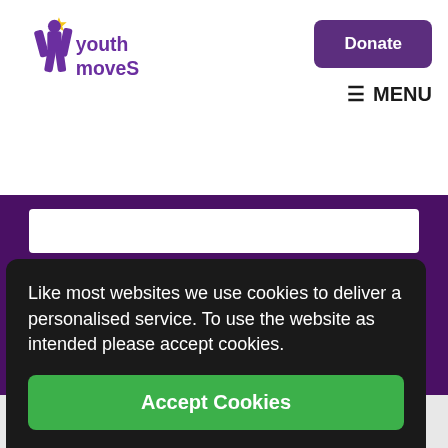[Figure (logo): Youth Moves logo - purple figure with star, text 'youth moves']
Donate
≡ MENU
Submit
Find us
Registered office
Youth Moves
The Park Centre
Birkett
B84 1QQ
Like most websites we use cookies to deliver a personalised service. To use the website as intended please accept cookies.
Accept Cookies